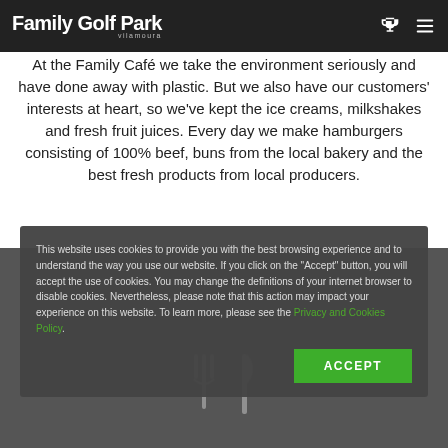Family Golf Park vilamoura
At the Family Café we take the environment seriously and have done away with plastic. But we also have our customers' interests at heart, so we've kept the ice creams, milkshakes and fresh fruit juices. Every day we make hamburgers consisting of 100% beef, buns from the local bakery and the best fresh products from local producers.
This website uses cookies to provide you with the best browsing experience and to understand the way you use our website. If you click on the "Accept" button, you will accept the use of cookies. You may change the definitions of your internet browser to disable cookies. Nevertheless, please note that this action may impact your experience on this website. To learn more, please see the Privacy and Cookies Policy.
[Figure (other): Cutlery (fork and knife) graphic at the bottom of the page on dark background]